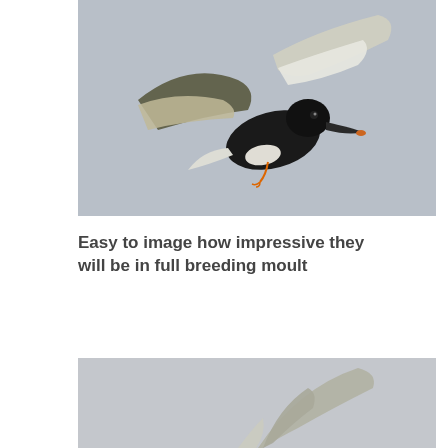[Figure (photo): A black tern in flight against a light grey sky. The bird has dark black plumage on its body with white underwings and white tail sides. It has an orange-red beak tip area and is shown mid-flight with wings spread.]
Easy to image how impressive they will be in full breeding moult
[Figure (photo): A partial view of another tern in flight against a grey sky, showing primarily the wing tips and tail at the bottom of the frame.]